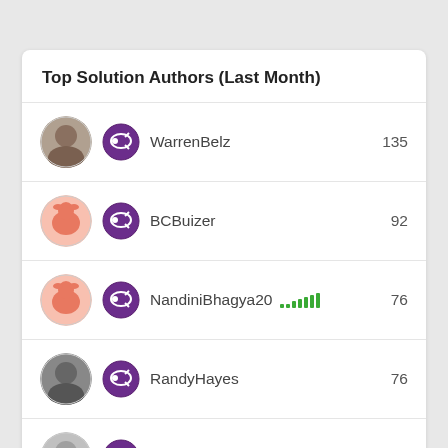Top Solution Authors (Last Month)
WarrenBelz 135
BCBuizer 92
NandiniBhagya20 76
RandyHayes 76
Drrickryp 54
See all >>